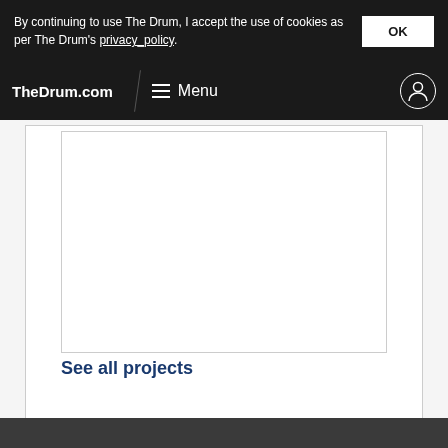By continuing to use The Drum, I accept the use of cookies as per The Drum's privacy policy.
TheDrum.com  Menu
See all projects